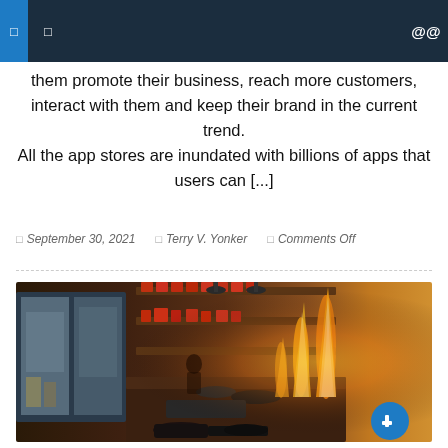Navigation bar with menu icons and search
them promote their business, reach more customers, interact with them and keep their brand in the current trend. All the app stores are inundated with billions of apps that users can [...]
September 30, 2021  Terry V. Yonker  Comments Off
[Figure (photo): Restaurant kitchen interior with flames on cooking stove, shelves with red items in background, city street view through large windows on left side]